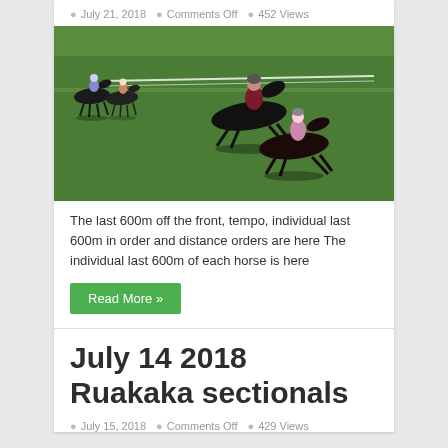July 21, 2018  Comments Off  452 Views
[Figure (photo): Horse race photo showing multiple horses and jockeys galloping on a green turf track, taken from an overhead or elevated angle. Several horses are visible with jockeys in racing colors.]
The last 600m off the front, tempo, individual last 600m in order and distance orders are here The individual last 600m of each horse is here
Read More »
July 14 2018 Ruakaka sectionals
July 15, 2018  Comments Off  429 Views